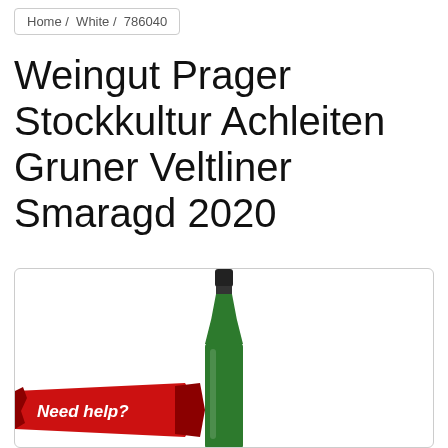Home / White / 786040
Weingut Prager Stockkultur Achleiten Gruner Veltliner Smaragd 2020
[Figure (photo): Green wine bottle (Gruner Veltliner) with dark cap, shown from the top portion, on white background inside a rounded border box. A red ribbon 'Need help?' button appears in the bottom-left corner.]